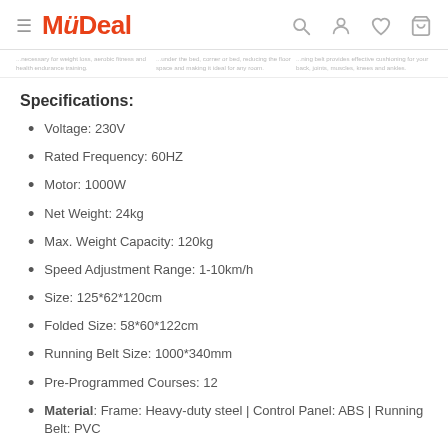MyDeal
...necessary for weight loss, aerobic fitness and health endurance training. | ...under the bed, corner or bed, reducing the floor space and making it ideal for any room. | ...ning belt provides effective cushioning for your back, joints, muscles, knees and ankles.
Specifications:
Voltage: 230V
Rated Frequency: 60HZ
Motor: 1000W
Net Weight: 24kg
Max. Weight Capacity: 120kg
Speed Adjustment Range: 1-10km/h
Size: 125*62*120cm
Folded Size: 58*60*122cm
Running Belt Size: 1000*340mm
Pre-Programmed Courses: 12
Material: Frame: Heavy-duty steel | Control Panel: ABS | Running Belt: PVC
Low Noise: 50Db
Detachable iPad Stand: Have